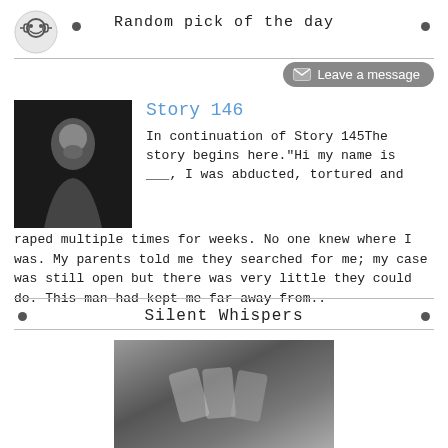Random pick of the day
Story 146
In continuation of Story 145The story begins here."Hi my name is ___, I was abducted, tortured and raped multiple times for weeks. No one knew where I was. My parents told me they searched for me; my case was still open but there was very little they could do. This man had kept me far away from..
Silent Whispers
[Figure (photo): Black and white photo of a person in distress, head bowed]
[Figure (photo): Partial bottom image, appears to be hands or a dark moody scene]